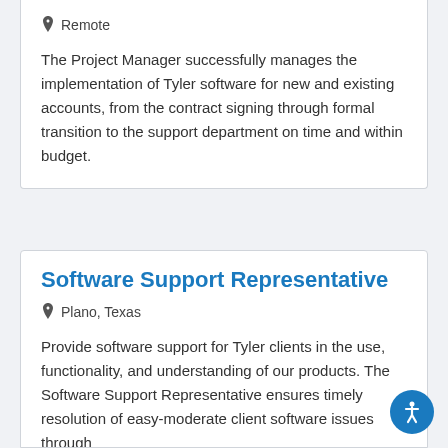Remote
The Project Manager successfully manages the implementation of Tyler software for new and existing accounts, from the contract signing through formal transition to the support department on time and within budget.
Software Support Representative
Plano, Texas
Provide software support for Tyler clients in the use, functionality, and understanding of our products. The Software Support Representative ensures timely resolution of easy-moderate client software issues through